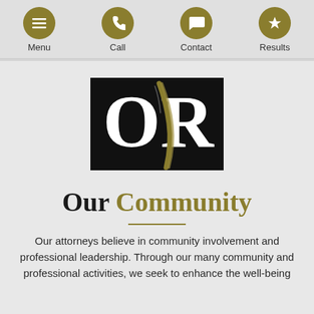Menu | Call | Contact | Results
[Figure (logo): OR law firm logo — black rectangle with white serif letters O and R, overlaid with a gold diagonal brushstroke]
Our Community
Our attorneys believe in community involvement and professional leadership. Through our many community and professional activities, we seek to enhance the well-being